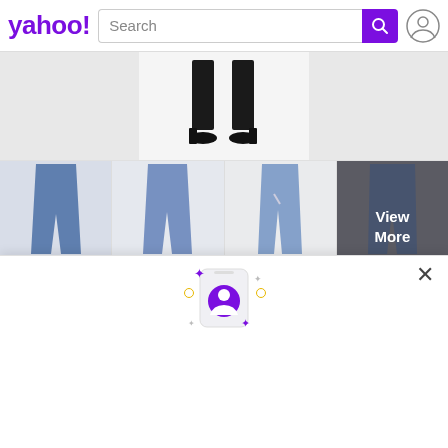[Figure (screenshot): Yahoo homepage header with logo, search bar, and user icon]
[Figure (photo): Bottom portion of a person wearing black pants and black heels on white background]
[Figure (photo): Row of four jeans product images including a View More overlay on the last cell]
[Figure (illustration): Phone illustration with Yahoo user account icon, sparkle decorations]
Sign in to get more
Sign in or join Yahoo to personalize your news feed and get updates across devices.
Sign in
Sign up